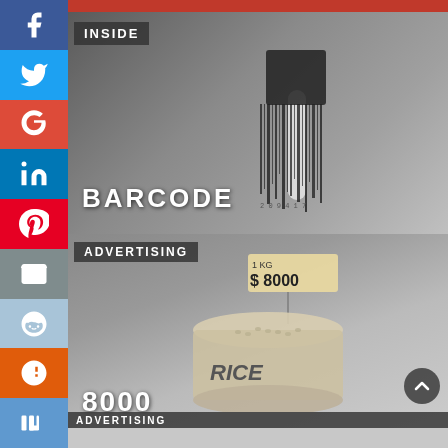[Figure (photo): Sidebar with social media icons: Facebook, Twitter, Google+, LinkedIn, Pinterest, Email, Reddit, StumbleUpon, Digg]
[Figure (photo): Top image showing a fork with barcode lines hanging from its tines on a dark misty background, with INSIDE tag label and BARCODE text]
INSIDE
BARCODE
[Figure (photo): Bottom image showing a sack of rice with a price tag reading $8000 on a stick, with ADVERTISING tag label and 8000 text]
ADVERTISING
8000
ADVERTISING